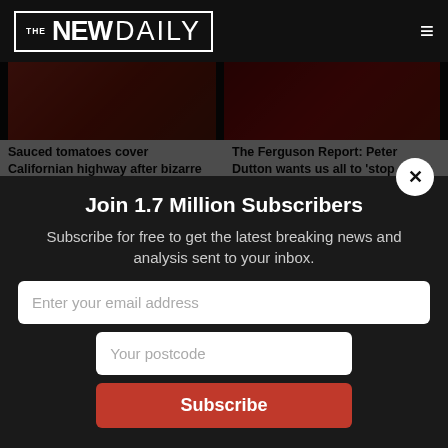THE NEWDAILY
Sauced tomatoes cover Californian highway after bizarre truck crash
The Ferguson Report: Peter Dutton wants us all to 'stop doing that'
[Figure (photo): Red/aerial photo (tomatoes on highway)]
[Figure (photo): Dark red photo related to Ferguson Report]
[Figure (photo): Hillary Clinton and others — Clintons' Gutsy TV move]
[Figure (photo): Tennis player Ajla Tomljanovic at US Open]
September streaming preview: the Clintons' Gutsy move into TV, Star Trek, a '90s reboot and sports docos
'threatens to be' a momentous US Open weekend for Aussie Ajla Tomljanovic
Promoted Stories
Join 1.7 Million Subscribers
Subscribe for free to get the latest breaking news and analysis sent to your inbox.
Enter your email address
Your postcode
Subscribe